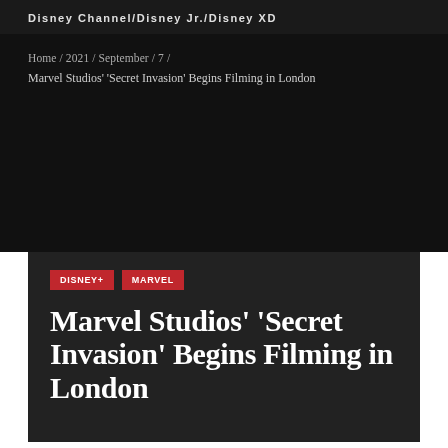Disney Channel/Disney Jr./Disney XD
Home / 2021 / September / 7 /
Marvel Studios' 'Secret Invasion' Begins Filming in London
DISNEY+  MARVEL
Marvel Studios' 'Secret Invasion' Begins Filming in London